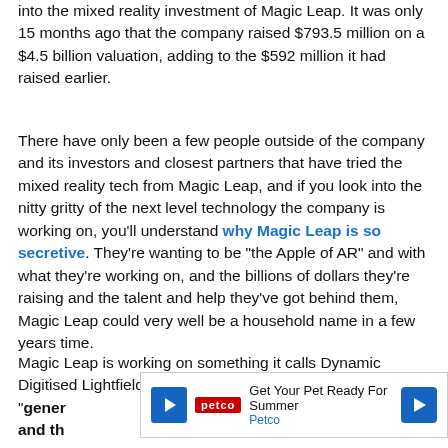into the mixed reality investment of Magic Leap. It was only 15 months ago that the company raised $793.5 million on a $4.5 billion valuation, adding to the $592 million it had raised earlier.
There have only been a few people outside of the company and its investors and closest partners that have tried the mixed reality tech from Magic Leap, and if you look into the nitty gritty of the next level technology the company is working on, you'll understand why Magic Leap is so secretive. They're wanting to be "the Apple of AR" and with what they're working on, and the billions of dollars they're raising and the talent and help they've got behind them, Magic Leap could very well be a household name in a few years time.
Magic Leap is working on something it calls Dynamic Digitised Lightfield Signal technology, which is able to "gener... bjects and th...
[Figure (other): Advertisement overlay: Petco 'Get Your Pet Ready For Summer' ad with play button icon and Petco logo]